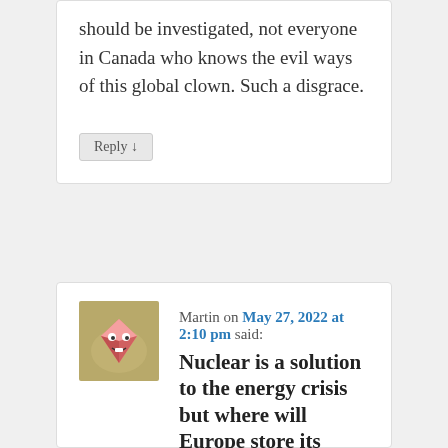should be investigated, not everyone in Canada who knows the evil ways of this global clown. Such a disgrace.
Reply ↓
Martin on May 27, 2022 at 2:10 pm said:
Nuclear is a solution to the energy crisis but where will Europe store its radioactive waste?
Can we find a solution to the problems of nuclear waste in time to stop climate